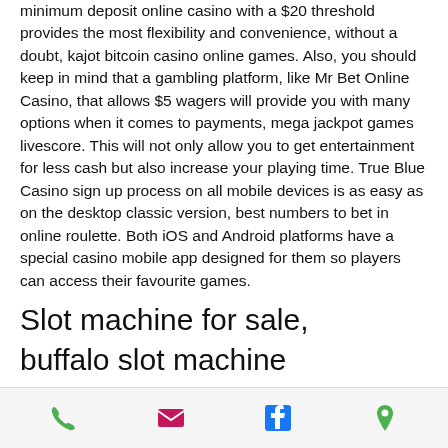minimum deposit online casino with a $20 threshold provides the most flexibility and convenience, without a doubt, kajot bitcoin casino online games. Also, you should keep in mind that a gambling platform, like Mr Bet Online Casino, that allows $5 wagers will provide you with many options when it comes to payments, mega jackpot games livescore. This will not only allow you to get entertainment for less cash but also increase your playing time. True Blue Casino sign up process on all mobile devices is as easy as on the desktop classic version, best numbers to bet in online roulette. Both iOS and Android platforms have a special casino mobile app designed for them so players can access their favourite games.
Slot machine for sale, buffalo slot machine
Phone | Email | Facebook | Location